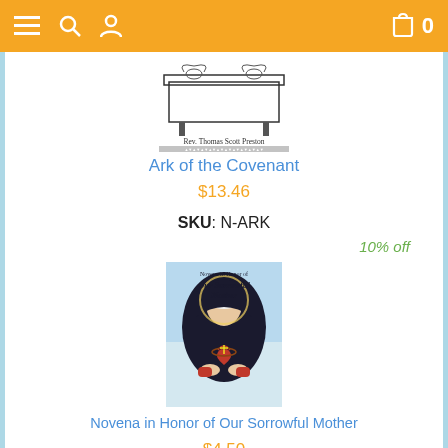Navigation bar with menu, search, user, cart (0 items)
[Figure (illustration): Book cover illustration of Ark of the Covenant with Rev. Thomas Scott Preston label and decorative border]
Ark of the Covenant
$13.46
SKU: N-ARK
10% off
[Figure (illustration): Book cover: Novena in Honor of Our Sorrowful Mother, depicting the Virgin Mary in dark veil with sacred heart]
Novena in Honor of Our Sorrowful Mother
$4.50